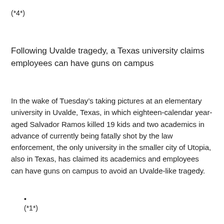(*4*)
Following Uvalde tragedy, a Texas university claims employees can have guns on campus
In the wake of Tuesday’s taking pictures at an elementary university in Uvalde, Texas, in which eighteen-calendar year-aged Salvador Ramos killed 19 kids and two academics in advance of currently being fatally shot by the law enforcement, the only university in the smaller city of Utopia, also in Texas, has claimed its academics and employees can have guns on campus to avoid an Uvalde-like tragedy.
*
(*1*)